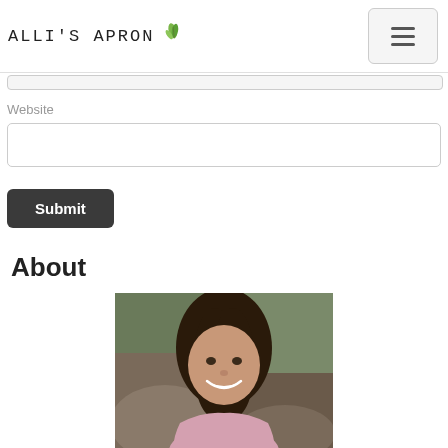ALLI'S APRON
Website
[Figure (screenshot): Empty website text input field]
[Figure (screenshot): Submit button, dark rounded rectangle with white text 'Submit']
About
[Figure (photo): Portrait photo of a smiling young woman with long dark hair, wearing a pink top, outdoors with rocks and greenery in background]